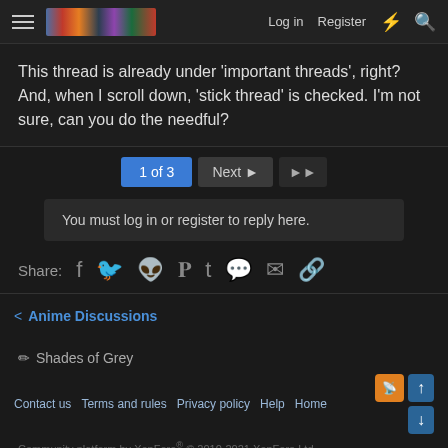Log in  Register
This thread is already under 'important threads', right? And, when I scroll down, 'stick thread' is checked. I'm not sure, can you do the needful?
1 of 3  Next  ►► (pagination)
You must log in or register to reply here.
Share: (social icons: Facebook, Twitter, Reddit, Pinterest, Tumblr, WhatsApp, Email, Link)
< Anime Discussions
✎ Shades of Grey
Contact us  Terms and rules  Privacy policy  Help  Home  Community platform by XenForo® © 2010-2021 XenForo Ltd.